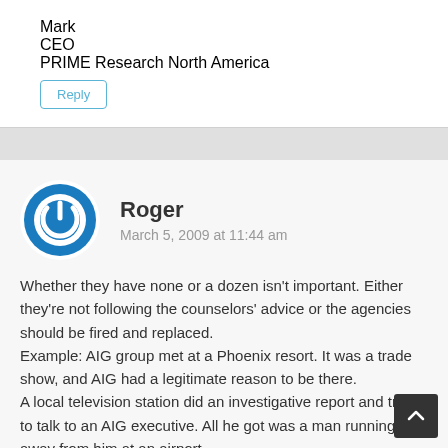Mark
CEO
PRIME Research North America
Reply
[Figure (illustration): Circular blue power button icon avatar for user Roger]
Roger
March 5, 2009 at 11:44 am
Whether they have none or a dozen isn't important. Either they're not following the counselors' advice or the agencies should be fired and replaced.
Example: AIG group met at a Phoenix resort. It was a trade show, and AIG had a legitimate reason to be there.
A local television station did an investigative report and tried to talk to an AIG executive. All he got was a man running away from him at an airport.